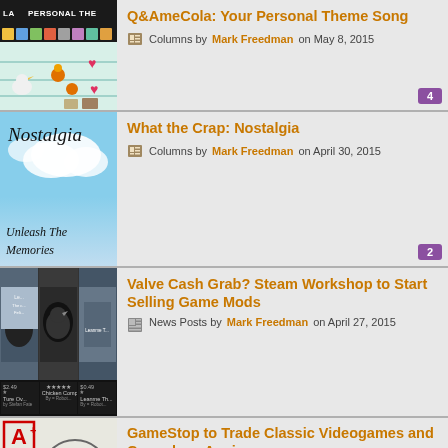[Figure (screenshot): Game screenshot thumbnail showing a Mario-style game with character sprites, hearts, and a black header bar with 'LA PERSONAL THE' text]
Q&AmeCola: Your Personal Theme Song
Columns by Mark Freedman on May 8, 2015
[4 comments]
[Figure (photo): Blue sky with clouds photo, text 'Nostalgia' in italic at top and 'Unleash The Memories' at bottom]
What the Crap: Nostalgia
Columns by Mark Freedman on April 30, 2015
[2 comments]
[Figure (screenshot): Steam Workshop screenshot showing game mod thumbnails including Chicken Companion and other items]
Valve Cash Grab? Steam Workshop to Start Selling Game Mods
News Posts by Mark Freedman on April 27, 2015
[Figure (illustration): GameStop logo area with red A+ grade badge and cartoon drawing]
GameStop to Trade Classic Videogames and Consoles...Again
News Posts by Mark Freedman on April 20,